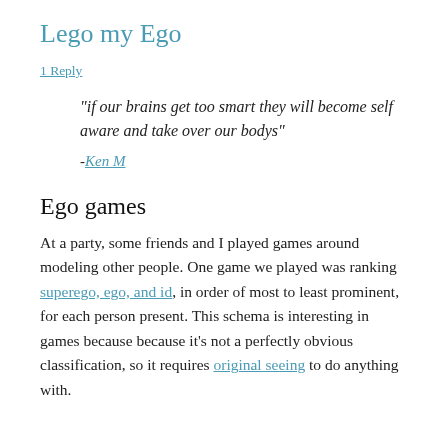Lego my Ego
1 Reply
"if our brains get too smart they will become self aware and take over our bodys"
-Ken M
Ego games
At a party, some friends and I played games around modeling other people. One game we played was ranking superego, ego, and id, in order of most to least prominent, for each person present. This schema is interesting in games because because it’s not a perfectly obvious classification, so it requires original seeing to do anything with.